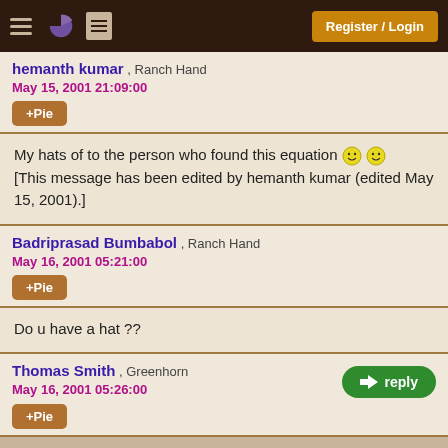Register / Login
hemanth kumar , Ranch Hand
May 15, 2001 21:09:00
+Pie
My hats of to the person who found this equation 🙂🙂
[This message has been edited by hemanth kumar (edited May 15, 2001).]
Badriprasad Bumbabol , Ranch Hand
May 16, 2001 05:21:00
+Pie
Do u have a hat ??
Thomas Smith , Greenhorn
May 16, 2001 05:26:00
+Pie